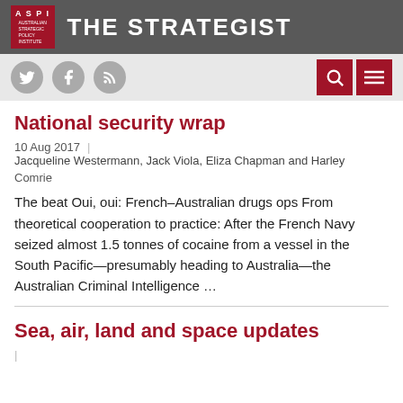THE STRATEGIST — Australian Strategic Policy Institute
National security wrap
10 Aug 2017 | Jacqueline Westermann, Jack Viola, Eliza Chapman and Harley Comrie
The beat Oui, oui: French–Australian drugs ops From theoretical cooperation to practice: After the French Navy seized almost 1.5 tonnes of cocaine from a vessel in the South Pacific—presumably heading to Australia—the Australian Criminal Intelligence …
Sea, air, land and space updates